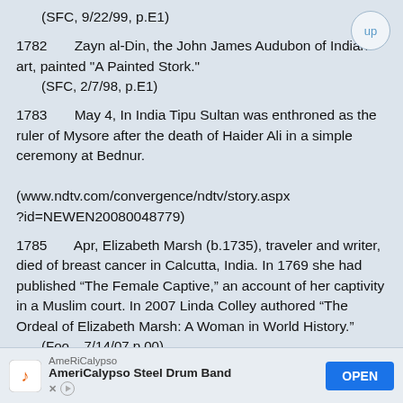(SFC, 9/22/99, p.E1)
1782	Zayn al-Din, the John James Audubon of Indian art, painted "A Painted Stork."
(SFC, 2/7/98, p.E1)
1783	May 4, In India Tipu Sultan was enthroned as the ruler of Mysore after the death of Haider Ali in a simple ceremony at Bednur.
(www.ndtv.com/convergence/ndtv/story.aspx?id=NEWEN20080048779)
1785	Apr, Elizabeth Marsh (b.1735), traveler and writer, died of breast cancer in Calcutta, India. In 1769 she had published “The Female Captive,” an account of her captivity in a Muslim court. In 2007 Linda Colley authored “The Ordeal of Elizabeth Marsh: A Woman in World History.”
(Foo... 7/14/07 p.00)